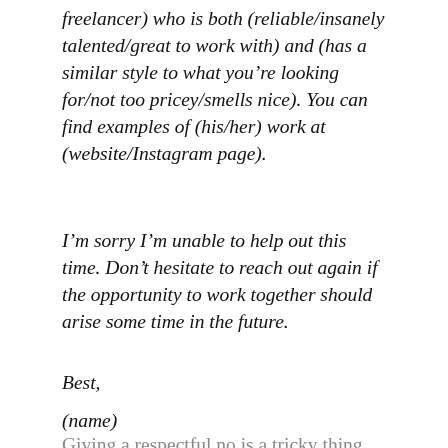freelancer) who is both (reliable/insanely talented/great to work with) and (has a similar style to what you're looking for/not too pricey/smells nice). You can find examples of (his/her) work at (website/Instagram page).
I'm sorry I'm unable to help out this time. Don't hesitate to reach out again if the opportunity to work together should arise some time in the future.
Best,
(name)
Giving a respectful no is a tricky thing. Now I just